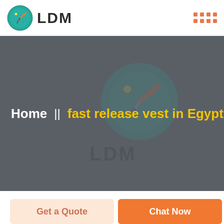LDM
[Figure (logo): LDM logo: circular teal icon with clock/compass and paint dots, next to bold LDM text. Top right has an orange dot grid.]
Home  ||  fast release vest in Egypt
Get a Quote
Chat Now